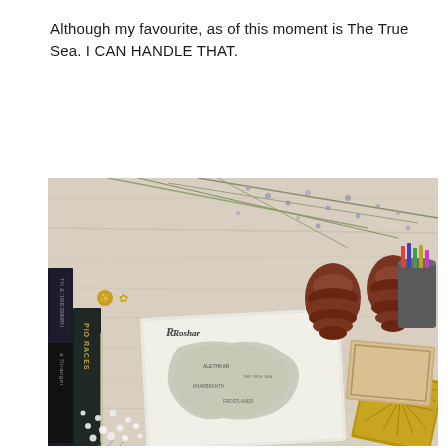Although my favourite, as of this moment is The True Sea. I CAN HANDLE THAT.
[Figure (photo): Flat lay photograph showing books including 'Words of Radiance & The Way of Kings' by Lee Andieth and other books, a printed map of Roshar, two pine cones, dried lavender flowers, white baby's breath flowers, colored pencils in a cup, and a decorative ruler on a wooden surface.]